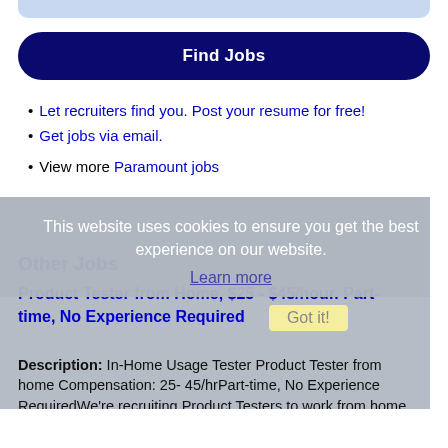[Figure (screenshot): Top blue-grey bar (partial UI element)]
Find Jobs
Let recruiters find you. Post your resume for free!
Get jobs via email.
View more Paramount jobs
This website uses cookies to ensure you get the best experience on our website.
Learn more
Other Jobs
Product Tester from Home, $25 - $45/hour. Part-time, No Experience Required
Description: In-Home Usage Tester Product Tester from home Compensation: 25- 45/hrPart-time, No Experience RequiredWe're recruiting Product Testers to work from home nationwide in the US